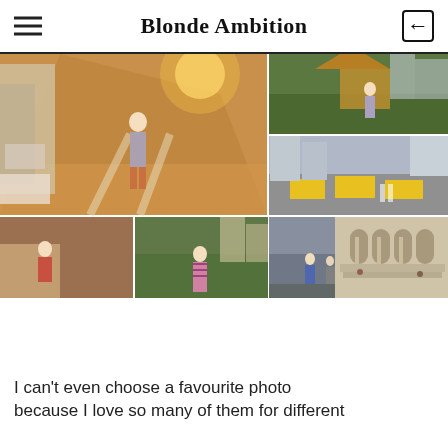Blonde Ambition
[Figure (photo): Photo collage of a blonde woman in NYC: large street photo with golden hour light, and smaller photos including carousel in Bryant Park, NYC street traffic, market scene, woman by greenery, crowded street, and New York Public Library]
I can't even choose a favourite photo because I love so many of them for different